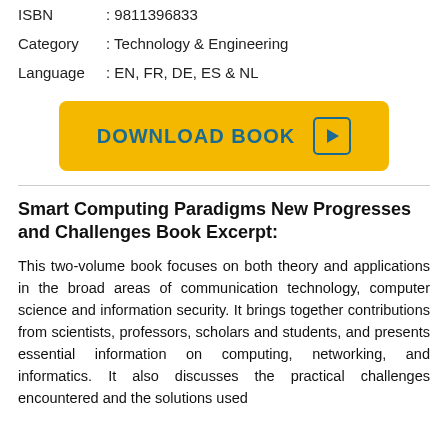ISBN : 9811396833
Category : Technology & Engineering
Language : EN, FR, DE, ES & NL
[Figure (other): Yellow download button with teal text 'DOWNLOAD BOOK' and a play/arrow icon on the right]
Smart Computing Paradigms New Progresses and Challenges Book Excerpt:
This two-volume book focuses on both theory and applications in the broad areas of communication technology, computer science and information security. It brings together contributions from scientists, professors, scholars and students, and presents essential information on computing, networking, and informatics. It also discusses the practical challenges encountered and the solutions used